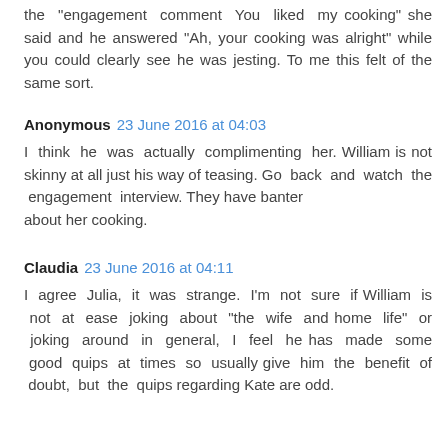the engagement comment "You liked my cooking" she said and he answered "Ah, your cooking was alright" while you could clearly see he was jesting. To me this felt of the same sort.
Anonymous 23 June 2016 at 04:03
I think he was actually complimenting her. William is not skinny at all just his way of teasing. Go back and watch the engagement interview. They have banter about her cooking.
Claudia 23 June 2016 at 04:11
I agree Julia, it was strange. I'm not sure if William is not at ease joking about "the wife and home life" or joking around in general, I feel he has made some good quips at times so usually give him the benefit of doubt, but the quips regarding Kate are odd.